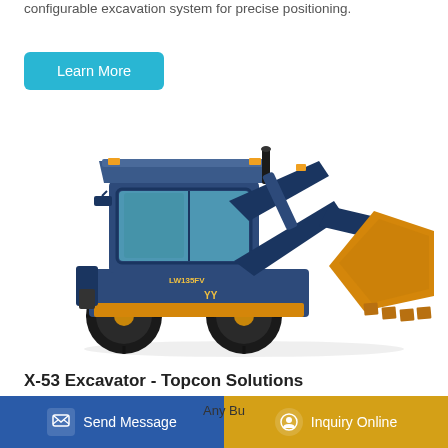configurable excavation system for precise positioning.
Learn More
[Figure (photo): Front loader / wheel loader machine (LW135FV model), dark blue and yellow, with a large front bucket, shown on a white background.]
X-53 Excavator - Topcon Solutions
Send Message
Inquiry Online
Any Bu